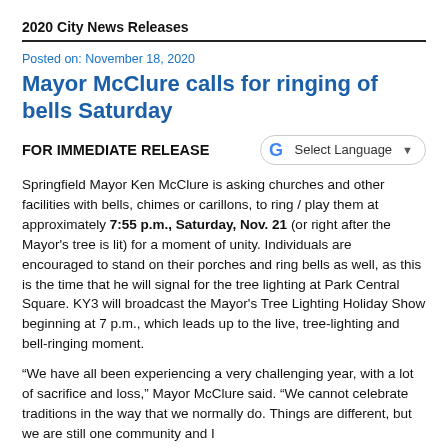2020 City News Releases
Posted on: November 18, 2020
Mayor McClure calls for ringing of bells Saturday
FOR IMMEDIATE RELEASE
[Figure (other): Google Translate widget with 'Select Language' dropdown]
Springfield Mayor Ken McClure is asking churches and other facilities with bells, chimes or carillons, to ring / play them at approximately 7:55 p.m., Saturday, Nov. 21 (or right after the Mayor's tree is lit) for a moment of unity. Individuals are encouraged to stand on their porches and ring bells as well, as this is the time that he will signal for the tree lighting at Park Central Square. KY3 will broadcast the Mayor's Tree Lighting Holiday Show beginning at 7 p.m., which leads up to the live, tree-lighting and bell-ringing moment.
“We have all been experiencing a very challenging year, with a lot of sacrifice and loss,” Mayor McClure said. “We cannot celebrate traditions in the way that we normally do. Things are different, but we are still one community and I